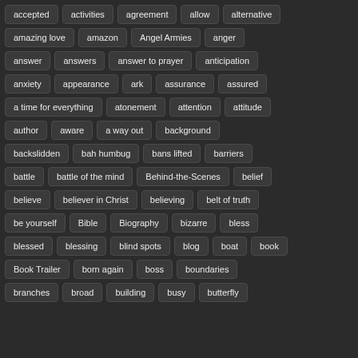accepted
activities
agreement
allow
alternative
amazing love
amazon
Angel Armies
anger
answer
answers
answer to prayer
anticipation
anxiety
appearance
ark
assurance
assured
a time for everything
atonement
attention
attitude
author
aware
a way out
background
backslidden
bah humbug
bans lifted
barriers
battle
battle of the mind
Behind-the-Scenes
belief
believe
believer in Christ
believing
belt of truth
be yourself
Bible
Biography
bizarre
bless
blessed
blessing
blind spots
blog
boat
book
Book Trailer
born again
boss
boundaries
branches
broad
building
busy
butterfly